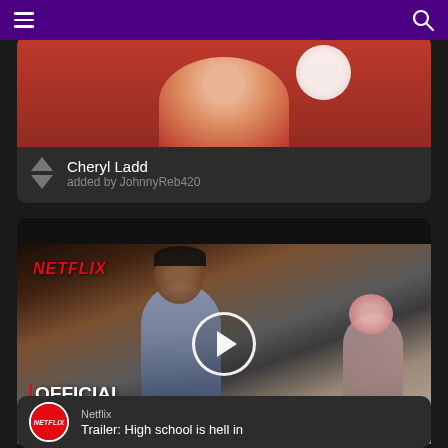Navigation bar with hamburger menu and search icon
[Figure (screenshot): Cheryl Ladd card with red background image showing partial figure, upvote/downvote arrows, name 'Cheryl Ladd' and 'added by JohnnyReb420']
Cheryl Ladd
added by JohnnyReb420
[Figure (screenshot): Netflix Official Trailer card with dark themed video thumbnail showing a young man in denim jacket, NETFLIX logo overlay, play button circle, and text 'OFFICIAL TRAILER' with red vertical bar]
OFFICIAL TRAILER
Netflix
Trailer: High school is hell in